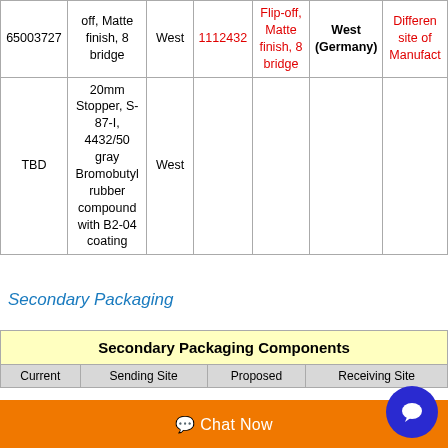| ID | Description | Site | Part No. | Description (Red) | Site (Red) | Notes |
| --- | --- | --- | --- | --- | --- | --- |
| 65003727 | off, Matte finish, 8 bridge | West | 1112432 | Flip-off, Matte finish, 8 bridge | West (Germany) | Different site of Manufact... |
| TBD | 20mm Stopper, S-87-I, 4432/50 gray Bromobutyl rubber compound with B2-04 coating | West |  |  |  |  |
Secondary Packaging
| Secondary Packaging Components |
| --- |
| Current | Sending Site | Proposed | Receiving Site |